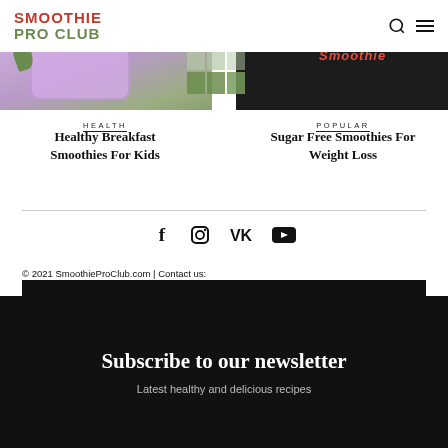SMOOTHIE PRO CLUB
[Figure (photo): Left: blueberry smoothie in a jar with blueberries on top; Right: dark background with red text 'smoothie' and green grid pattern overlay in center]
HEALTH
POPULAR
Healthy Breakfast Smoothies For Kids
Sugar Free Smoothies For Weight Loss
[Figure (infographic): Social media icons row: Facebook, Instagram, VK, YouTube]
© 2021 SmoothieProClub.com | Contact us: contact@smoothieproclub.com
Subscribe to our newsletter
Latest healthy and delicious recipes